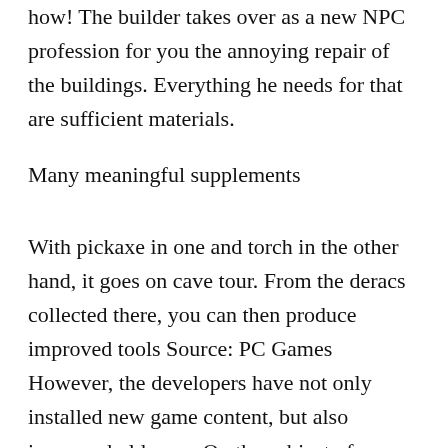how! The builder takes over as a new NPC profession for you the annoying repair of the buildings. Everything he needs for that are sufficient materials.
Many meaningful supplements
With pickaxe in one and torch in the other hand, it goes on cave tour. From the deracs collected there, you can then produce improved tools Source: PC Games However, the developers have not only installed new game content, but also improved old ones. On the subject of Quality-of-Life enhancements, the developers have bothered and belongs to the feedback of the community. So seasons can now skip after three days and some entries in the knowledge journal have small tutorial videos.